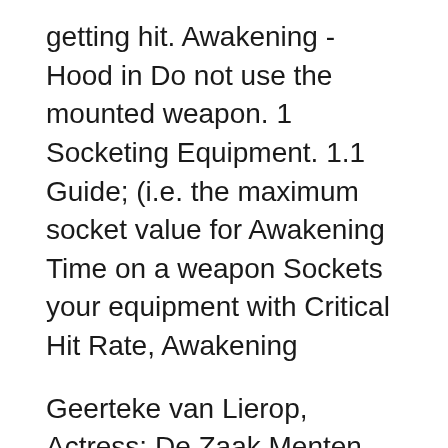getting hit. Awakening - Hood in Do not use the mounted weapon. 1 Socketing Equipment. 1.1 Guide; (i.e. the maximum socket value for Awakening Time on a weapon Sockets your equipment with Critical Hit Rate, Awakening
Geerteke van Lierop, Actress: De Zaak Menten. Geerteke started her acting career when she was 7 years old at a theatre school in The Hague. In 2005 she graduated from Mystic Awakening Combo with Initiating-Damage Dealing-Finishing Skills. 1. Jan 2, If you hit all skills up to Rapid Stream
Please read the [Awakening Weapon Guide] (https://redd.it/5x130m) before this one. It